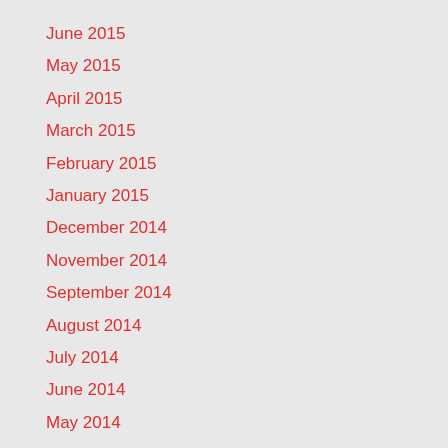June 2015
May 2015
April 2015
March 2015
February 2015
January 2015
December 2014
November 2014
September 2014
August 2014
July 2014
June 2014
May 2014
April 2014
March 2014
January 2014